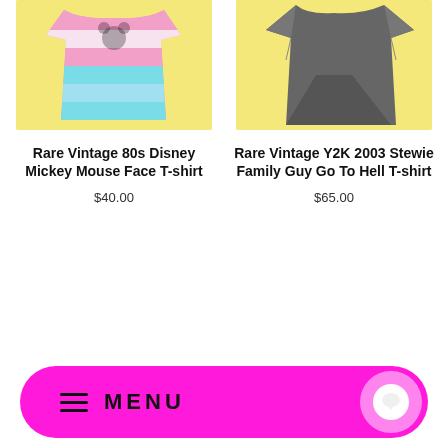[Figure (photo): Product photo of a colorful pink and blue tie-dye style Disney Mickey Mouse Face T-shirt on a yellow background]
Rare Vintage 80s Disney Mickey Mouse Face T-shirt
$40.00
[Figure (photo): Product photo of a dark grey t-shirt folded on a yellow background]
Rare Vintage Y2K 2003 Stewie Family Guy Go To Hell T-shirt
$65.00
[Figure (other): Pink rounded rectangle navigation bar with hamburger menu icon, MENU text, and a chat bubble button]